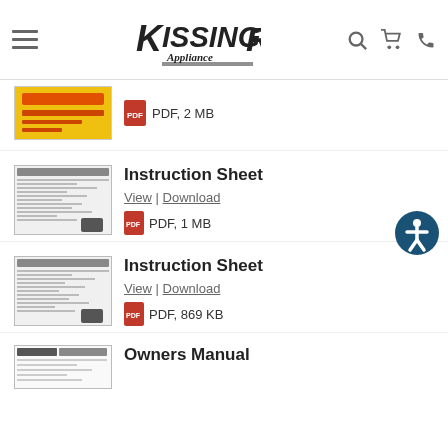Kissinger Appliance
PDF, 2 MB
Instruction Sheet
View | Download
PDF, 1 MB
Instruction Sheet
View | Download
PDF, 869 KB
Owners Manual